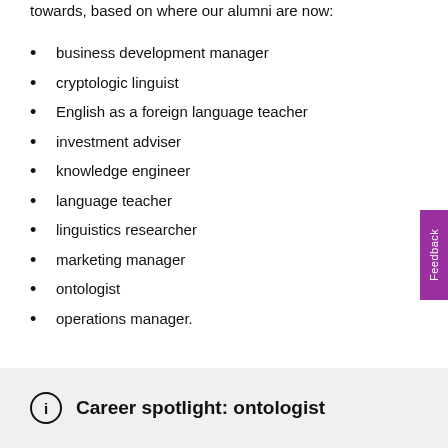towards, based on where our alumni are now:
business development manager
cryptologic linguist
English as a foreign language teacher
investment adviser
knowledge engineer
language teacher
linguistics researcher
marketing manager
ontologist
operations manager.
Career spotlight: ontologist